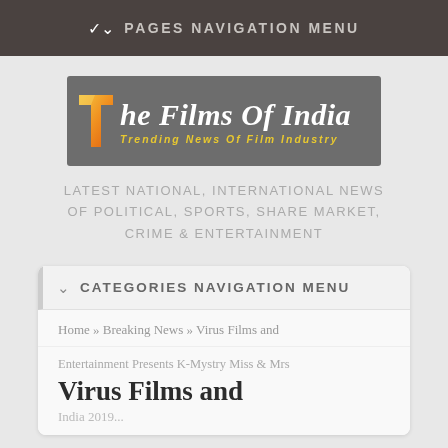PAGES NAVIGATION MENU
[Figure (logo): The Films Of India logo - grey background with orange T icon and white italic text, yellow subtitle 'Trending News Of Film Industry']
LATEST NATIONAL, INTERNATIONAL NEWS OF POLITICAL, SPORTS, SHARE MARKET, CRIME & ENTERTAINMENT
CATEGORIES NAVIGATION MENU
Home » Breaking News » Virus Films and
Entertainment Presents K-Mystry Miss & Mrs
Virus Films and